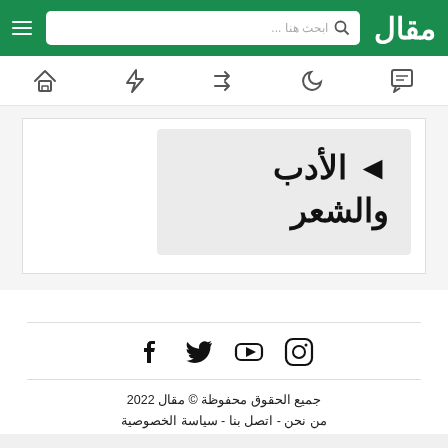مقال — ابحث هنا ...
[Figure (infographic): Navigation icon bar with chat, moon, shuffle, lightning bolt, and home icons]
الأدب والشعر
[Figure (infographic): Social media icons: Instagram, YouTube, Twitter, Facebook]
جميع الحقوق محفوظة © مقال 2022 — من نحن - اتصل بنا - سياسة الخصوصية